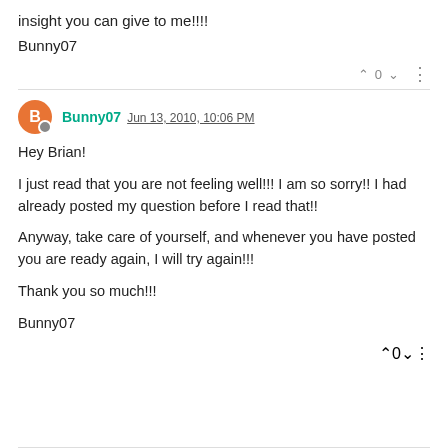insight you can give to me!!!!
Bunny07
Bunny07 Jun 13, 2010, 10:06 PM
Hey Brian!

I just read that you are not feeling well!!! I am so sorry!! I had already posted my question before I read that!!

Anyway, take care of yourself, and whenever you have posted you are ready again, I will try again!!!

Thank you so much!!!

Bunny07